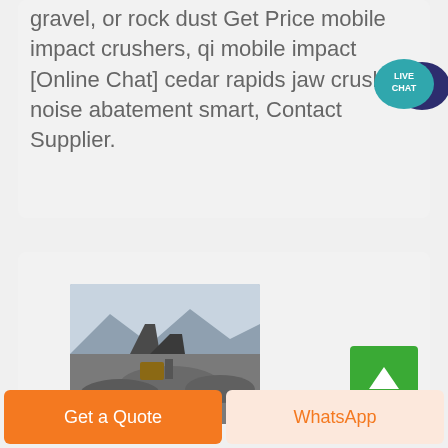gravel, or rock dust Get Price mobile impact crushers, qi mobile impact [Online Chat] cedar rapids jaw crusher noise abatement smart, Contact Supplier.
[Figure (illustration): Live Chat speech bubble icon with teal background and white text reading LIVE CHAT]
[Figure (photo): Outdoor photo of industrial rock crushing machinery at a quarry site with mountains in background]
[Figure (other): Green square button with white upward arrow for scrolling to top]
Get a Quote
WhatsApp